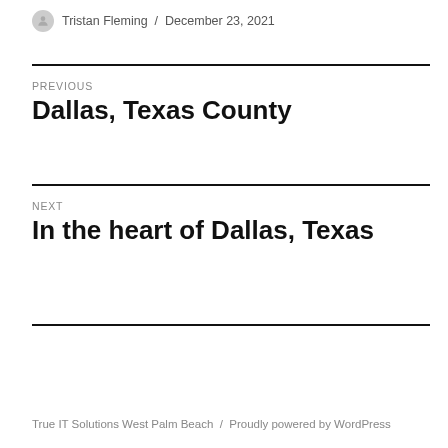Tristan Fleming / December 23, 2021
PREVIOUS
Dallas, Texas County
NEXT
In the heart of Dallas, Texas
True IT Solutions West Palm Beach / Proudly powered by WordPress